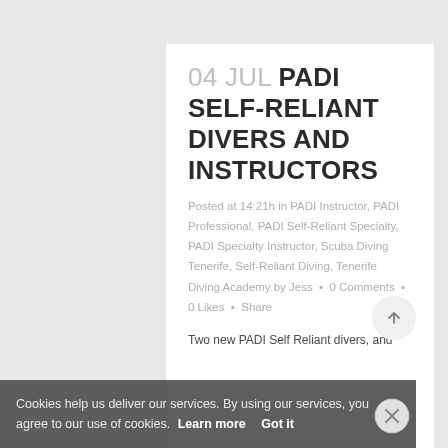04 JUL PADI SELF-RELIANT DIVERS AND INSTRUCTORS
Posted at 14:21h in PADI Instructor, PADI Professional, PADI Self-Reliant Specialty, PADI Specialty Instructor, Scuba Diving Tenerife, Self-Reliant Diving, Tenerife Diving Academy by Jess • 0 Comments • 0 Likes • Share
Two new PADI Self Reliant divers, and
Cookies help us deliver our services. By using our services, you agree to our use of cookies. Learn more  Got it